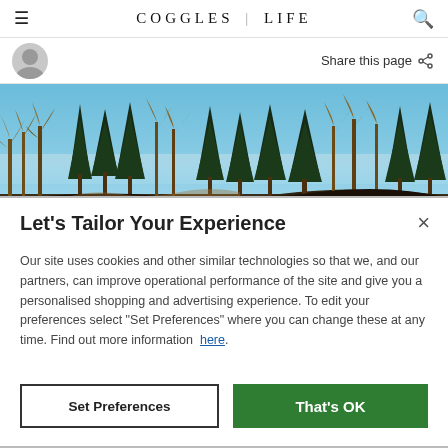COGGLES | LIFE
Share this page
[Figure (photo): Panoramic forest scene with tall conifer and deciduous trees against a blue sky, lit by warm autumn light.]
Let's Tailor Your Experience
Our site uses cookies and other similar technologies so that we, and our partners, can improve operational performance of the site and give you a personalised shopping and advertising experience. To edit your preferences select "Set Preferences" where you can change these at any time. Find out more information here.